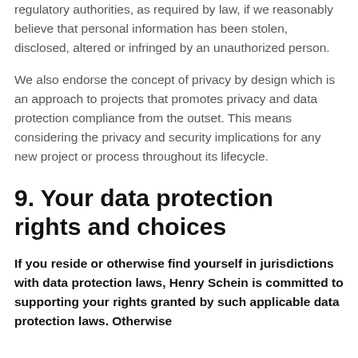regulatory authorities, as required by law, if we reasonably believe that personal information has been stolen, disclosed, altered or infringed by an unauthorized person.
We also endorse the concept of privacy by design which is an approach to projects that promotes privacy and data protection compliance from the outset. This means considering the privacy and security implications for any new project or process throughout its lifecycle.
9. Your data protection rights and choices
If you reside or otherwise find yourself in jurisdictions with data protection laws, Henry Schein is committed to supporting your rights granted by such applicable data protection laws. Otherwise